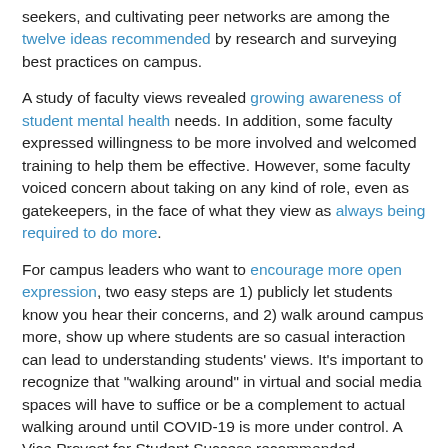seekers, and cultivating peer networks are among the twelve ideas recommended by research and surveying best practices on campus.
A study of faculty views revealed growing awareness of student mental health needs. In addition, some faculty expressed willingness to be more involved and welcomed training to help them be effective. However, some faculty voiced concern about taking on any kind of role, even as gatekeepers, in the face of what they view as always being required to do more.
For campus leaders who want to encourage more open expression, two easy steps are 1) publicly let students know you hear their concerns, and 2) walk around campus more, show up where students are so casual interaction can lead to understanding students' views. It's important to recognize that "walking around" in virtual and social media spaces will have to suffice or be a complement to actual walking around until COVID-19 is more under control. A Vice Provost for Student Success recommended encouraging faculty and avoiding titles would improve student communication.